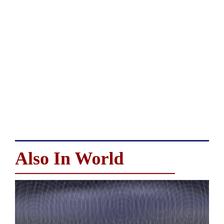Also In World
[Figure (photo): Crowd of people, densely packed, viewed from above or at a slight angle, blurred/out of focus]